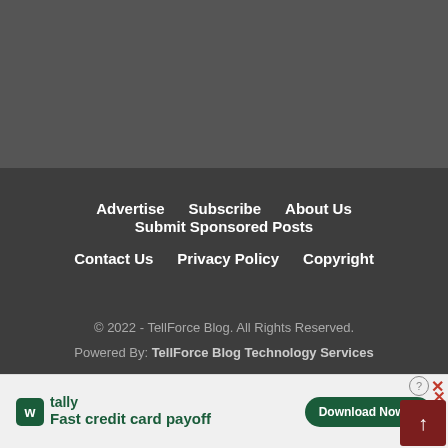[Figure (other): Dark gray background area representing page content above footer]
Advertise  Subscribe  About Us  Submit Sponsored Posts  Contact Us  Privacy Policy  Copyright
© 2022 - TellForce Blog. All Rights Reserved.
Powered By: TellForce Blog Technology Services
[Figure (other): Tally advertisement banner: Fast credit card payoff - Download Now button]